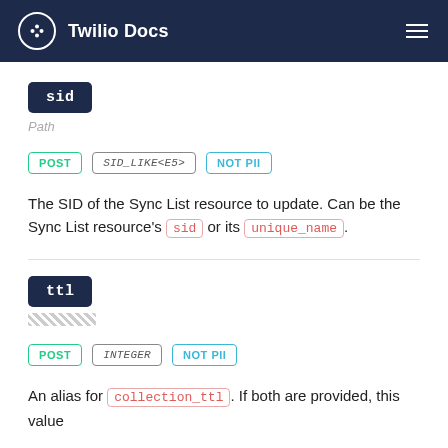Twilio Docs
sid
Path
POST  SID_LIKE<E5>  NOT PII
The SID of the Sync List resource to update. Can be the Sync List resource's sid or its unique_name.
ttl
POST  INTEGER  NOT PII
An alias for collection_ttl. If both are provided, this value